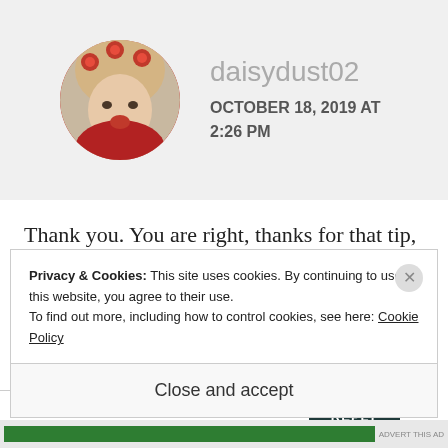[Figure (photo): Circular avatar photo of a woman in red with red roses in hair, lying down]
daisydust02
OCTOBER 18, 2019 AT 2:26 PM
Thank you. You are right, thanks for that tip, that is really useful. 🙂
★ Liked by 1 person
REPLY
Privacy & Cookies: This site uses cookies. By continuing to use this website, you agree to their use.
To find out more, including how to control cookies, see here: Cookie Policy
Close and accept